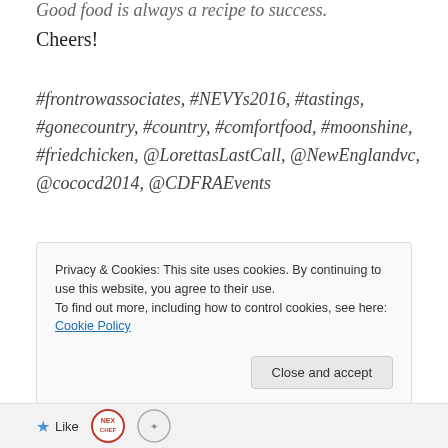Good food is always a recipe to success.
Cheers!
#frontrowassociates, #NEVYs2016, #tastings, #gonecountry, #country, #comfortfood, #moonshine, #friedchicken, @LorettasLastCall, @NewEnglandvc, @cococd2014, @CDFRAEvents
Privacy & Cookies: This site uses cookies. By continuing to use this website, you agree to their use.
To find out more, including how to control cookies, see here: Cookie Policy
Close and accept
Like